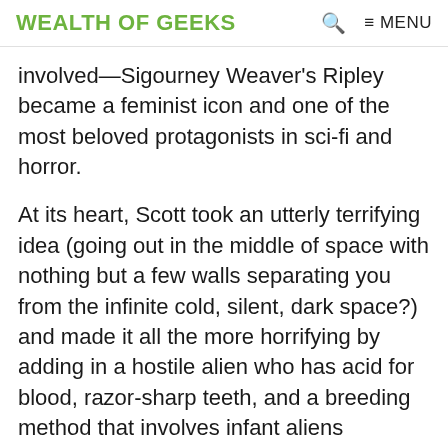WEALTH OF GEEKS  🔍  ≡ MENU
involved—Sigourney Weaver's Ripley became a feminist icon and one of the most beloved protagonists in sci-fi and horror.
At its heart, Scott took an utterly terrifying idea (going out in the middle of space with nothing but a few walls separating you from the infinite cold, silent, dark space?) and made it all the more horrifying by adding in a hostile alien who has acid for blood, razor-sharp teeth, and a breeding method that involves infant aliens forcefully bursting out of your chest. The film is consistently ranked as one of Scott's best, and after seeing it,